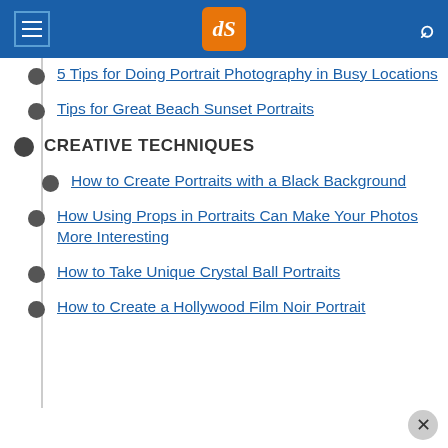dPS navigation header
5 Tips for Doing Portrait Photography in Busy Locations
Tips for Great Beach Sunset Portraits
CREATIVE TECHNIQUES
How to Create Portraits with a Black Background
How Using Props in Portraits Can Make Your Photos More Interesting
How to Take Unique Crystal Ball Portraits
How to Create a Hollywood Film Noir Portrait